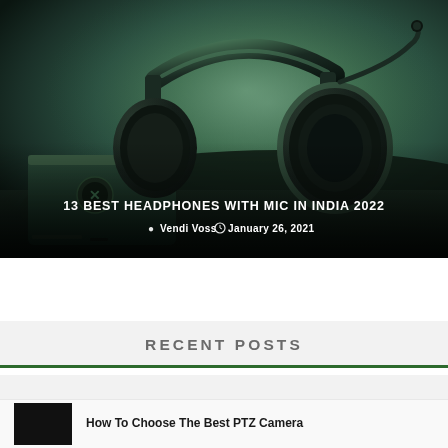[Figure (photo): Photo of a gaming headset (dark green/black over-ear headphones with microphone boom) resting on an Xbox console on a dark surface, with green-tinted moody background lighting. Title '13 BEST HEADPHONES WITH MIC IN INDIA 2022' overlaid at bottom center, with author 'Vendi Voss' and date 'January 26, 2021' below.]
13 BEST HEADPHONES WITH MIC IN INDIA 2022
Vendi Voss   January 26, 2021
RECENT POSTS
How To Choose The Best PTZ Camera